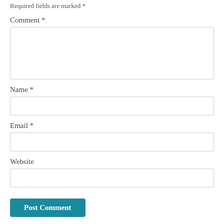Required fields are marked *
Comment *
Name *
Email *
Website
Post Comment